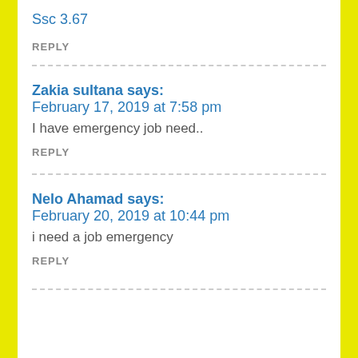Ssc 3.67
REPLY
Zakia sultana says:
February 17, 2019 at 7:58 pm
I have emergency job need..
REPLY
Nelo Ahamad says:
February 20, 2019 at 10:44 pm
i need a job emergency
REPLY